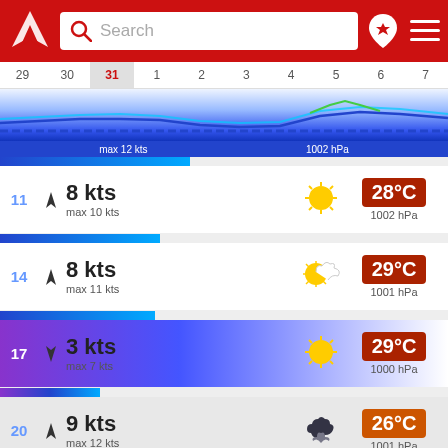Search bar with logo and navigation icons
[Figure (line-chart): Wind and pressure overview chart for dates 29-7, with wave lines and blue gradient]
max 12 kts   1002 hPa
11  8 kts  max 10 kts  28°C  1002 hPa
14  8 kts  max 11 kts  29°C  1001 hPa
17  3 kts  max 7 kts  29°C  1000 hPa
20  9 kts  max 12 kts  26°C  1001 hPa
23  5 kts  25°C